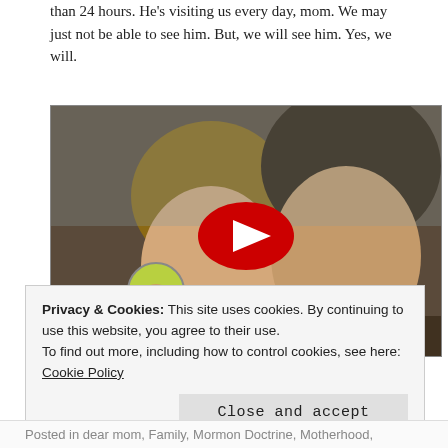than 24 hours. He's visiting us every day, mom. We may just not be able to see him. But, we will see him. Yes, we will.
[Figure (screenshot): YouTube video thumbnail showing two boys facing each other with a YouTube play button overlay. Video title: 'Families are Forever']
Privacy & Cookies: This site uses cookies. By continuing to use this website, you agree to their use.
To find out more, including how to control cookies, see here: Cookie Policy

[Close and accept]
Posted in dear mom, Family, Mormon Doctrine, Motherhood,